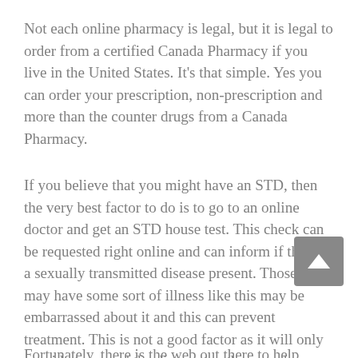Not each online pharmacy is legal, but it is legal to order from a certified Canada Pharmacy if you live in the United States. It's that simple. Yes you can order your prescription, non-prescription and more than the counter drugs from a Canada Pharmacy.
If you believe that you might have an STD, then the very best factor to do is to go to an online doctor and get an STD house test. This check can be requested right online and can inform if there is a sexually transmitted disease present. Those who may have some sort of illness like this may be embarrassed about it and this can prevent treatment. This is not a good factor as it will only provide to spread the disease to other people.
Fortunately, there is the web out there to help those